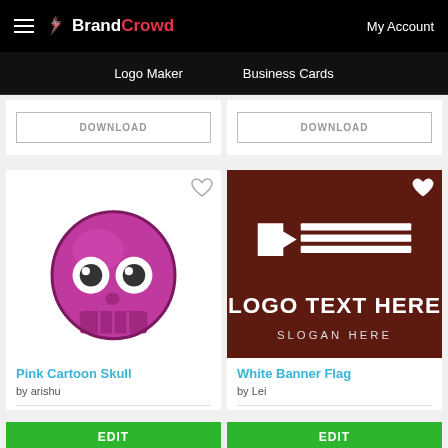[Figure (logo): BrandCrowd logo with stylized flame/lightning icon]
BrandCrowd — My Account — Logo Maker — Business Cards
[Figure (screenshot): DOWNLOAD button card top-left]
[Figure (screenshot): DOWNLOAD button card top-right]
[Figure (logo): Pink Cartoon Skull logo with LOGO TEXT HERE text on white card background, heart icon overlay]
Pink Cartoon Skull
by arishu
[Figure (logo): White Banner Flag logo on dark brown background with LOGO TEXT HERE and SLOGAN HERE, heart icon overlay]
White Banner Flag
by Lei